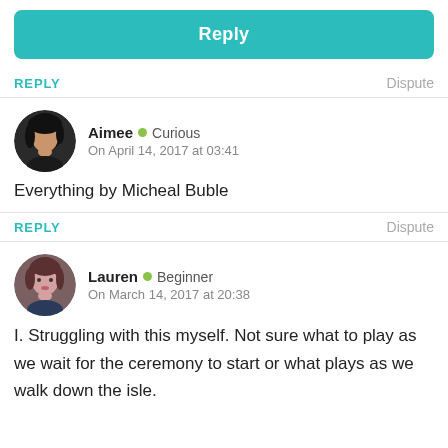[Figure (other): Teal rounded rectangle Reply button]
REPLY
Dispute
[Figure (photo): Circular avatar photo of Aimee with dark curly hair]
Aimee • Curious
On April 14, 2017 at 03:41
Everything by Micheal Buble
REPLY
Dispute
[Figure (photo): Circular avatar photo of Lauren with brown hair]
Lauren • Beginner
On March 14, 2017 at 20:38
I. Struggling with this myself. Not sure what to play as we wait for the ceremony to start or what plays as we walk down the isle.